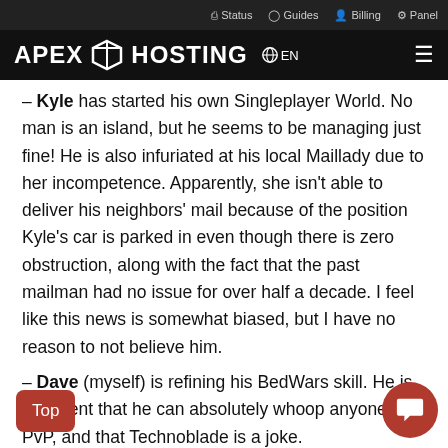Status  Guides  Billing  Panel
APEX HOSTING  EN
– Kyle has started his own Singleplayer World. No man is an island, but he seems to be managing just fine! He is also infuriated at his local Maillady due to her incompetence. Apparently, she isn't able to deliver his neighbors' mail because of the position Kyle's car is parked in even though there is zero obstruction, along with the fact that the past mailman had no issue for over half a decade. I feel like this news is somewhat biased, but I have no reason to not believe him.
– Dave (myself) is refining his BedWars skill. He is confident that he can absolutely whoop anyone at PvP, and that Technoblade is a joke.